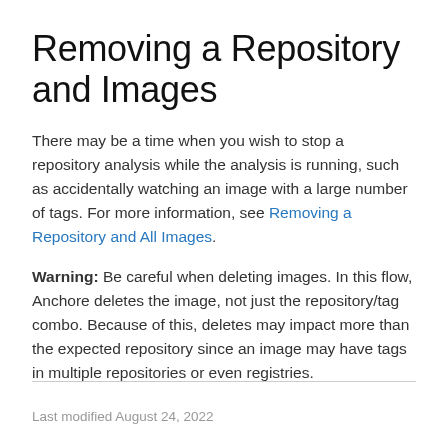Removing a Repository and Images
There may be a time when you wish to stop a repository analysis while the analysis is running, such as accidentally watching an image with a large number of tags. For more information, see Removing a Repository and All Images.
Warning: Be careful when deleting images. In this flow, Anchore deletes the image, not just the repository/tag combo. Because of this, deletes may impact more than the expected repository since an image may have tags in multiple repositories or even registries.
Last modified August 24, 2022